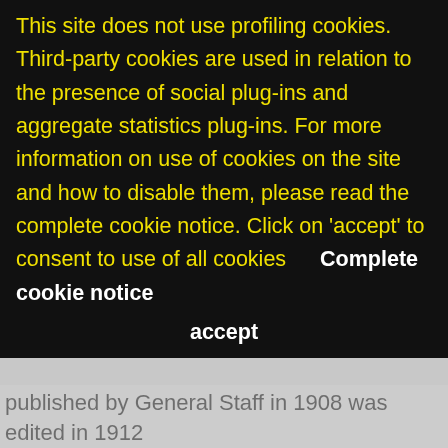This site does not use profiling cookies. Third-party cookies are used in relation to the presence of social plug-ins and aggregate statistics plug-ins. For more information on use of cookies on the site and how to disable them, please read the complete cookie notice. Click on 'accept' to consent to use of all cookies   Complete cookie notice   accept
published by General Staff in 1908 was edited in 1912 further to the adoption of two ski poles. Skiing equipment was usually in ash (Norwegian hickory articles were rare as they were costly) and were 85 inches long and 3 inches wide, and weighed around 11 pounds. The first course was held in October 1915 on Colle del Piccolo San Bernardo; the second was held in the area surrounding the former royal hunting lodge of Dondena, in the upper Champorcher valley: its technical director